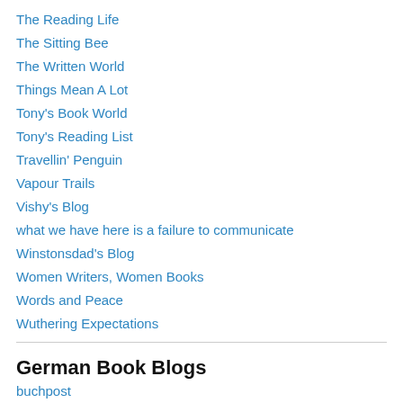The Reading Life
The Sitting Bee
The Written World
Things Mean A Lot
Tony's Book World
Tony's Reading List
Travellin' Penguin
Vapour Trails
Vishy's Blog
what we have here is a failure to communicate
Winstonsdad's Blog
Women Writers, Women Books
Words and Peace
Wuthering Expectations
German Book Blogs
buchpost
Kaffeehaussitzer